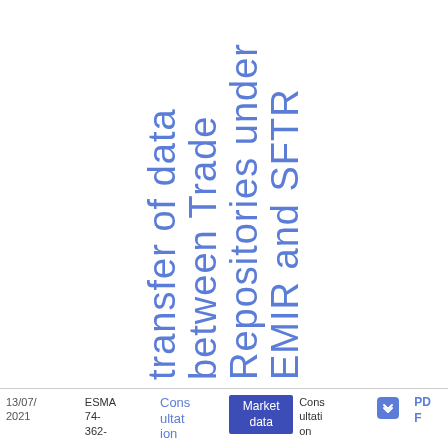transfer of data between Trade Repositories under EMIR and SFTR
13/07/2021 | ESMA 74-362- | Consultation | Market data | Consultation | PDF